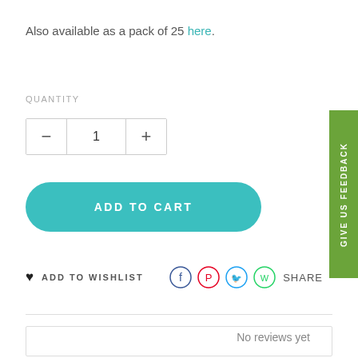Also available as a pack of 25 here.
QUANTITY
[Figure (infographic): Quantity selector with minus button, value 1, and plus button]
[Figure (infographic): ADD TO CART button, teal rounded rectangle]
ADD TO WISHLIST
[Figure (infographic): Social share icons: Facebook, Pinterest, Twitter, WhatsApp with SHARE label]
[Figure (infographic): No reviews yet box with border]
No reviews yet
[Figure (infographic): GIVE US FEEDBACK vertical green tab on right side]